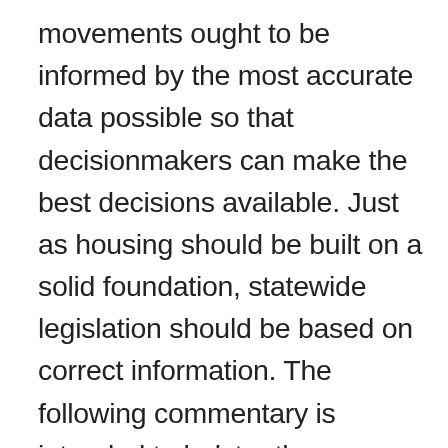movements ought to be informed by the most accurate data possible so that decisionmakers can make the best decisions available. Just as housing should be built on a solid foundation, statewide legislation should be based on correct information. The following commentary is intended to bolster the foundation upon which Desegregate CT assembles its movement. Doing so many broaden the movement's audience, include greater diversity of thought, and build consensus across traditional political lines. Thus far, the movement has been dominated - to its detriment -